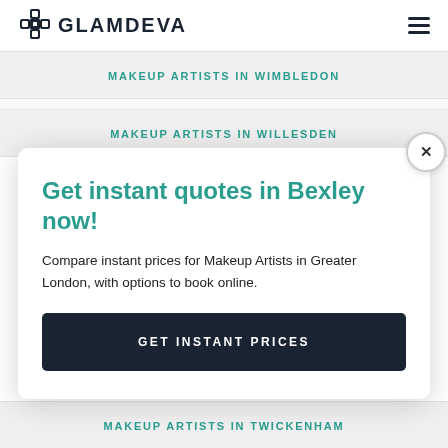GLAMDEVA
MAKEUP ARTISTS IN WIMBLEDON
MAKEUP ARTISTS IN WILLESDEN
Get instant quotes in Bexley now!
Compare instant prices for Makeup Artists in Greater London, with options to book online.
GET INSTANT PRICES
MAKEUP ARTISTS IN TWICKENHAM